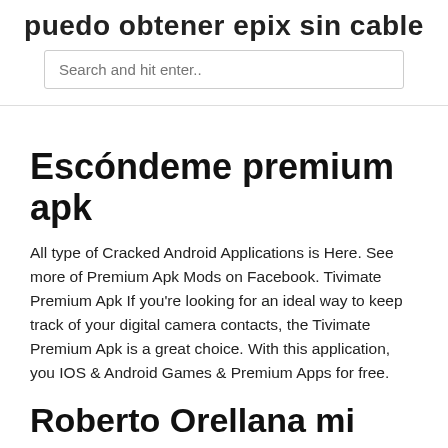puedo obtener epix sin cable
Search and hit enter..
Escóndeme premium apk
All type of Cracked Android Applications is Here. See more of Premium Apk Mods on Facebook. Tivimate Premium Apk If you're looking for an ideal way to keep track of your digital camera contacts, the Tivimate Premium Apk is a great choice. With this application, you IOS & Android Games & Premium Apps for free.
Roberto Orellana mi nuevo amor tengo fe escondeme